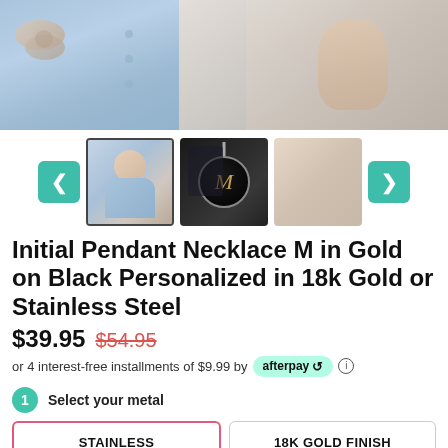[Figure (photo): Main product photo - woman wearing necklace, close-up of hands/chest area in blue denim shirt and white sweater]
[Figure (photo): Thumbnail 1 - woman smiling wearing necklace (selected/active)]
[Figure (photo): Thumbnail 2 - black pendant with gold M initial on chain near box]
[Figure (photo): Thumbnail 3 - hands holding necklace pendant]
Initial Pendant Necklace M in Gold on Black Personalized in 18k Gold or Stainless Steel
$39.95 $54.95
or 4 interest-free installments of $9.99 by afterpay
1 Select your metal
STAINLESS
18K GOLD FINISH